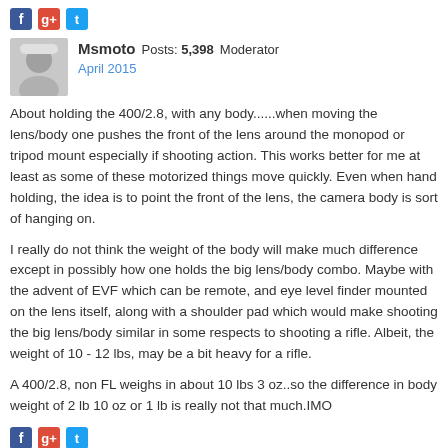[Figure (infographic): Social sharing icons row: Facebook, Google+, Twitter]
[Figure (photo): Avatar photo of forum user Msmoto, person wearing glasses and white hat]
Msmoto Posts: 5,398 Moderator
April 2015
About holding the 400/2.8, with any body......when moving the lens/body one pushes the front of the lens around the monopod or tripod mount especially if shooting action. This works better for me at least as some of these motorized things move quickly. Even when hand holding, the idea is to point the front of the lens, the camera body is sort of hanging on.
I really do not think the weight of the body will make much difference except in possibly how one holds the big lens/body combo. Maybe with the advent of EVF which can be remote, and eye level finder mounted on the lens itself, along with a shoulder pad which would make shooting the big lens/body similar in some respects to shooting a rifle. Albeit, the weight of 10 - 12 lbs, may be a bit heavy for a rifle.
A 400/2.8, non FL weighs in about 10 lbs 3 oz..so the difference in body weight of 2 lb 10 oz or 1 lb is really not that much.IMO
[Figure (infographic): Social sharing icons row: Facebook, Google+, Twitter]